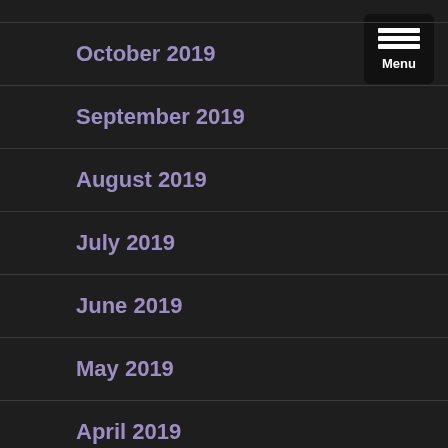[Figure (screenshot): Menu button with hamburger icon and 'Menu' label in top-right corner]
October 2019
September 2019
August 2019
July 2019
June 2019
May 2019
April 2019
March 2019